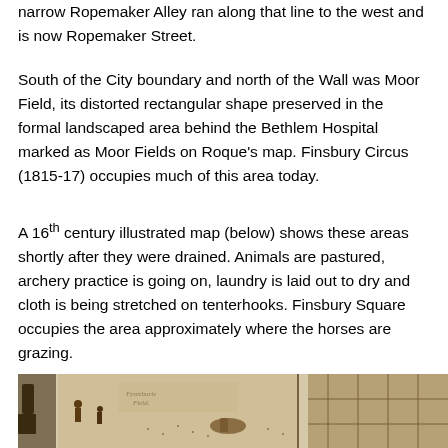narrow Ropemaker Alley ran along that line to the west and is now Ropemaker Street.
South of the City boundary and north of the Wall was Moor Field, its distorted rectangular shape preserved in the formal landscaped area behind the Bethlem Hospital marked as Moor Fields on Roque's map. Finsbury Circus (1815-17) occupies much of this area today.
A 16th century illustrated map (below) shows these areas shortly after they were drained. Animals are pastured, archery practice is going on, laundry is laid out to dry and cloth is being stretched on tenterhooks. Finsbury Square occupies the area approximately where the horses are grazing.
[Figure (illustration): A 16th century illustrated map showing Finsbury fields area with animals grazing, archery practice, laundry drying, and cloth on tenterhooks. Text 'Fynisburie Field' visible.]